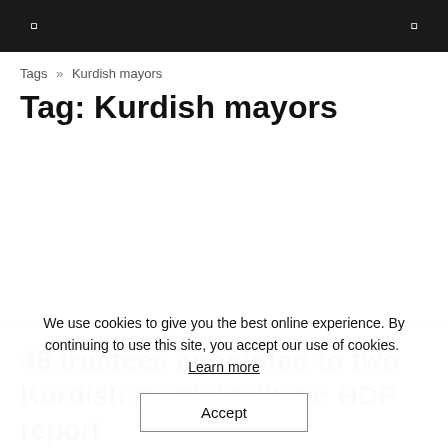[ ] navigation header with menu and search icons
Tags » Kurdish mayors
Tag: Kurdish mayors
48 trustees appointed to two Kurdish muni­cipalities: HDP report
We use cookies to give you the best online experience. By continuing to use this site, you accept our use of cookies. Learn more
Accept